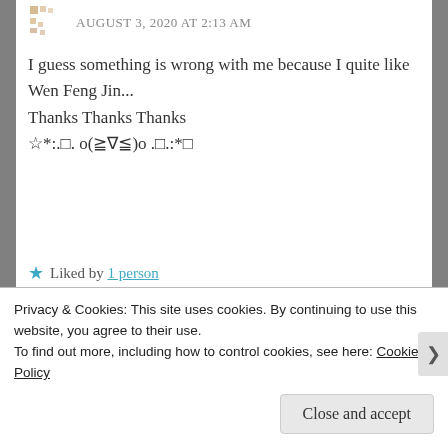AUGUST 3, 2020 AT 2:13 AM
I guess something is wrong with me because I quite like Wen Feng Jin...
Thanks Thanks Thanks
☆*:.□. o(≧▽≦)o .□.:*☆
★ Liked by 1 person
Reply
TN4L3
Privacy & Cookies: This site uses cookies. By continuing to use this website, you agree to their use.
To find out more, including how to control cookies, see here: Cookie Policy